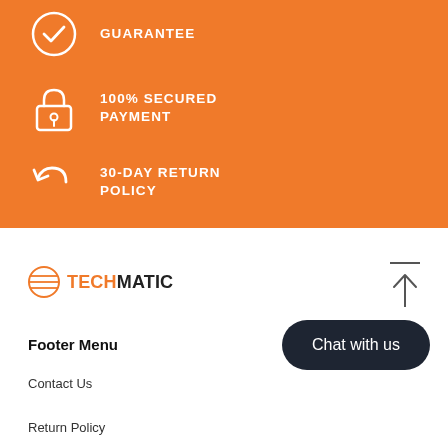[Figure (infographic): Orange background section with three feature icons and text: GUARANTEE (top, partially visible), 100% SECURED PAYMENT (lock icon), 30-DAY RETURN POLICY (return arrow icon). White icons on orange background.]
[Figure (logo): Techmatic logo: orange globe/circle icon with stripes, followed by TECH in orange and MATIC in dark/black text]
[Figure (infographic): Scroll-to-top button: dark line above an upward arrow icon]
Footer Menu
[Figure (infographic): Dark rounded rectangle button labeled 'Chat with us']
Contact Us
Return Policy